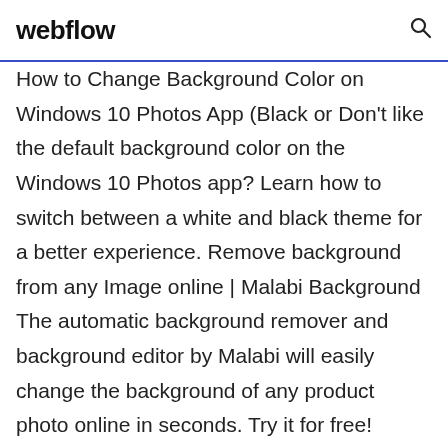webflow
How to Change Background Color on Windows 10 Photos App (Black or Don't like the default background color on the Windows 10 Photos app? Learn how to switch between a white and black theme for a better experience. Remove background from any Image online | Malabi Background The automatic background remover and background editor by Malabi will easily change the background of any product photo online in seconds. Try it for free! Malabi is the leading Image background remover photo app to remove background from images and photos. Create a transparent background / remove background online with the Malabi online photo Automatically Remove